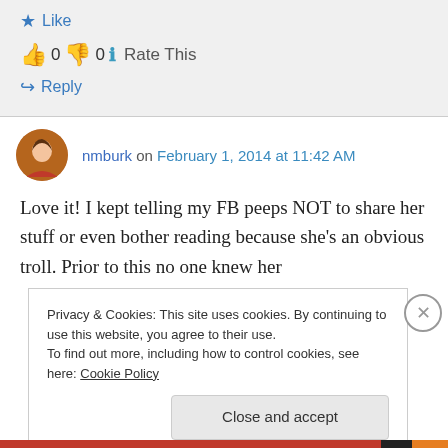Like
👍 0 👎 0 ℹ Rate This
↪ Reply
nmburk on February 1, 2014 at 11:42 AM
Love it! I kept telling my FB peeps NOT to share her stuff or even bother reading because she's an obvious troll. Prior to this no one knew her
Privacy & Cookies: This site uses cookies. By continuing to use this website, you agree to their use.
To find out more, including how to control cookies, see here: Cookie Policy
Close and accept